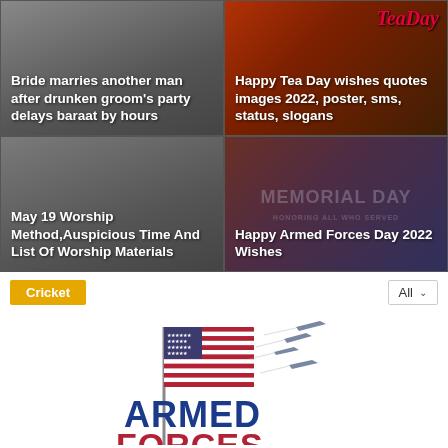[Figure (screenshot): News thumbnail: gray gradient background with white bold text overlay]
Bride marries another man after drunken groom’s party delays baraat by hours
[Figure (screenshot): News thumbnail: tea cup image with red/brown background and cursive TeaDay text overlay]
Happy Tea Day wishes quotes images 2022, poster, sms, status, slogans
[Figure (screenshot): News thumbnail: dark gray gradient background]
May 19 Worship Method,Auspicious Time And List Of Worship Materials
[Figure (screenshot): News thumbnail: Memorial Day / Armed Forces background with US flag and text HONORING ALL WHO SERVED]
Happy Armed Forces Day 2022 Wishes
Cricket
All
[Figure (logo): Armed Forces Day logo: US flag on pole with jet aircraft flying, bold text ARMED FORCES in red/blue]